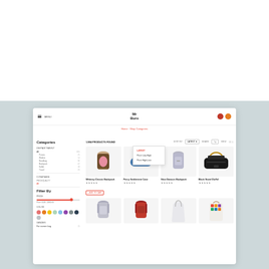[Figure (screenshot): E-commerce website screenshot showing a bag/backpack shop with left sidebar filters (Categories, Filter By price, colors, gender) and a product grid showing 8 bags including Whitney Classic Backpack, Percy Settlement Case, Nico Dawson Backpack, Black Novel Duffel, and more. Navigation bar at top with hamburger menu, Mr. Buro logo, and user icons. Sort by dropdown is open showing options: Latest, Price Low-High, Price High-Low.]